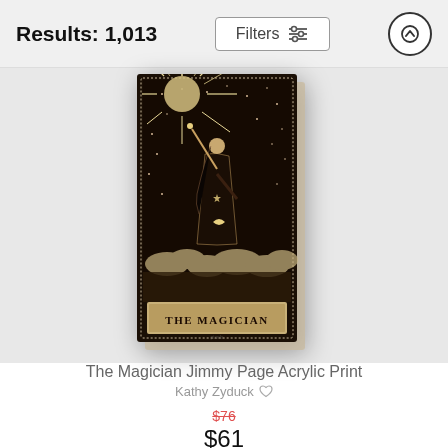Results: 1,013
Filters
[Figure (photo): Acrylic print product photo of 'The Magician Jimmy Page' tarot card artwork — a dark sepia-toned tarot card depicting a robed figure raising a wand toward radiating light rays, standing on clouds with a crescent moon, stars, and text 'THE MAGICIAN' at the bottom, displayed as a canvas/acrylic print with visible depth.]
The Magician Jimmy Page Acrylic Print
Kathy Zyduck
$76
$61